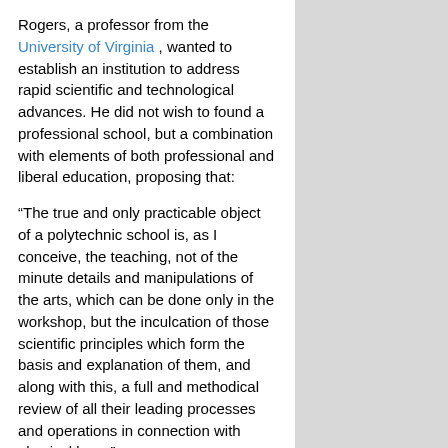Rogers, a professor from the University of Virginia , wanted to establish an institution to address rapid scientific and technological advances. He did not wish to found a professional school, but a combination with elements of both professional and liberal education, proposing that:
“The true and only practicable object of a polytechnic school is, as I conceive, the teaching, not of the minute details and manipulations of the arts, which can be done only in the workshop, but the inculcation of those scientific principles which form the basis and explanation of them, and along with this, a full and methodical review of all their leading processes and operations in connection with physical laws.”
The Rogers Plan reflected the German research university model, emphasizing an independent faculty engaged in research, as well as instruction oriented around seminars and laboratories.
Early developments
Two days after The Massachusetts Institute of